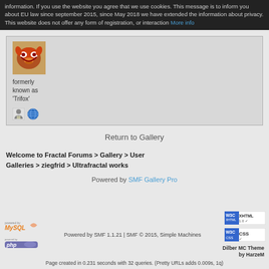information. If you use the website you agree that we use cookies. This message is to inform you about EU law since september 2015, since May 2018 we have extended the information about privacy. This website does not offer any form of registration, or interaction More info
[Figure (photo): User avatar showing a stylized colorful face/mask graphic (Trifox)]
formerly known as 'Trifox'
[Figure (illustration): User icon and globe/web icon]
Return to Gallery
Welcome to Fractal Forums > Gallery > User Galleries > ziegfrid > Ultrafractal works
Powered by SMF Gallery Pro
[Figure (logo): MySQL logo]
[Figure (logo): PHP logo]
Powered by SMF 1.1.21 | SMF © 2015, Simple Machines
[Figure (logo): W3C XHTML 1.0 validation badge]
[Figure (logo): W3C CSS validation badge]
Dilber MC Theme by HarzeM
Page created in 0.231 seconds with 32 queries. (Pretty URLs adds 0.009s, 1q)